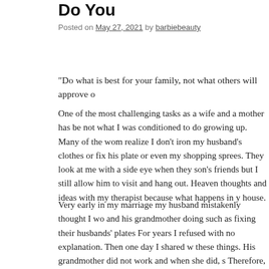Do You
Posted on May 27, 2021 by barbiebeauty
“Do what is best for your family, not what others will approve o…
One of the most challenging tasks as a wife and a mother has be… not what I was conditioned to do growing up. Many of the wom… realize I don’t iron my husband’s clothes or fix his plate or even… my shopping sprees. They look at me with a side eye when they… son’s friends but I still allow him to visit and hang out. Heaven … thoughts and ideas with my therapist because what happens in y… house.
Very early in my marriage my husband mistakenly thought I wo… and his grandmother doing such as fixing their husbands’ plates… For years I refused with no explanation. Then one day I shared w… these things. His grandmother did not work and when she did, s… Therefore, she was not coming home exhausted everyday. His g… His grandfather was the sole provider for the family and his gra…